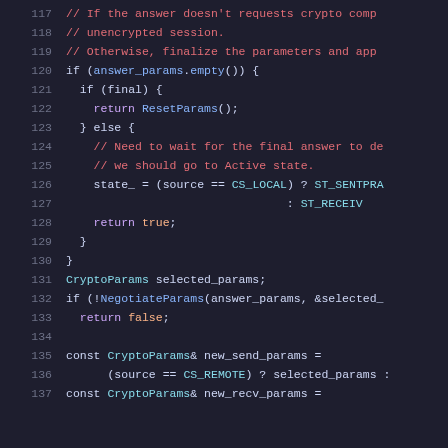[Figure (screenshot): Code editor screenshot showing C++ source code lines 117-137, dark theme. Lines include comments and logic about crypto parameters, session state, and parameter negotiation.]